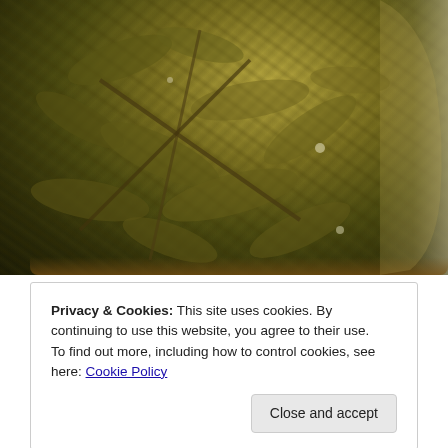[Figure (photo): Close-up photograph of a glass jar containing pickled or preserved vegetables (green and brown plant material submerged in liquid), viewed from slightly above. The jar has amber/brown glass edges visible on the right side.]
Privacy & Cookies: This site uses cookies. By continuing to use this website, you agree to their use.
To find out more, including how to control cookies, see here: Cookie Policy
Close and accept
(white) and Emerald (green). Previewed Arya Ruby a